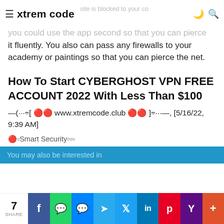xtrem code
you could use the app second so that you can pierce it fluently. You also can pass any firewalls to your academy or paintings so that you can pierce the net.
How To Start CYBERGHOST VPN FREE ACCOUNT 2022 With Less Than $100
—(···÷[ 🔴🔴 www.xtremcode.club 🔴🔴 ]÷···—, [5/16/22, 9:39 AM]
🔴▫Smart Security▫▫▫
You may also be interested in